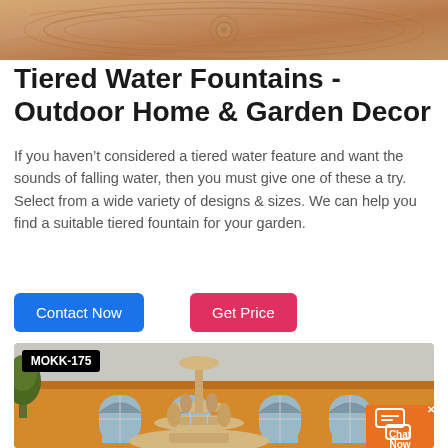[Figure (photo): Top decorative stone/marble carved relief image, brownish-orange tones]
Tiered Water Fountains - Outdoor Home & Garden Decor
If you haven't considered a tiered water feature and want the sounds of falling water, then you must give one of these a try. Select from a wide variety of designs & sizes. We can help you find a suitable tiered fountain for your garden.
Contact Now
Get Price
[Figure (photo): Large outdoor tiered marble water fountain labeled MOKK-175, with figurative sculptures, in front of a yellow building with arched windows. Chat Now widget visible in bottom right corner.]